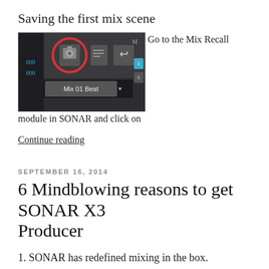Saving the first mix scene
[Figure (screenshot): Screenshot of SONAR Mix Recall module toolbar showing camera icon circled in red, alongside text 'Go to the Mix Recall module in SONAR and click on']
Continue reading
SEPTEMBER 16, 2014
6 Mindblowing reasons to get SONAR X3 Producer
1. SONAR has redefined mixing in the box.
[Figure (screenshot): Screenshot of SONAR X3 Producer DAW interface showing mixer view with audio tracks]